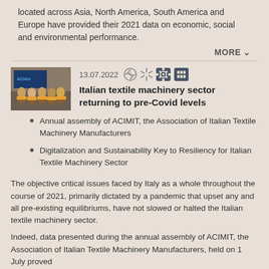located across Asia, North America, South America and Europe have provided their 2021 data on economic, social and environmental performance.
MORE ∨
[Figure (photo): Panel discussion photo showing people seated on a stage, with ACIMIT branding visible in background]
13.07.2022
Italian textile machinery sector returning to pre-Covid levels
Annual assembly of ACIMIT, the Association of Italian Textile Machinery Manufacturers
Digitalization and Sustainability Key to Resiliency for Italian Textile Machinery Sector
The objective critical issues faced by Italy as a whole throughout the course of 2021, primarily dictated by a pandemic that upset any and all pre-existing equilibriums, have not slowed or halted the Italian textile machinery sector.
Indeed, data presented during the annual assembly of ACIMIT, the Association of Italian Textile Machinery Manufacturers, held on 1 July proved